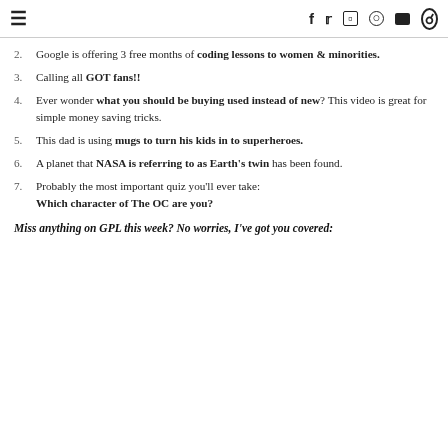≡  f  t  instagram  pinterest  youtube  search
2. Google is offering 3 free months of coding lessons to women & minorities.
3. Calling all GOT fans!!
4. Ever wonder what you should be buying used instead of new? This video is great for simple money saving tricks.
5. This dad is using mugs to turn his kids in to superheroes.
6. A planet that NASA is referring to as Earth's twin has been found.
7. Probably the most important quiz you'll ever take: Which character of The OC are you?
Miss anything on GPL this week? No worries, I've got you covered: